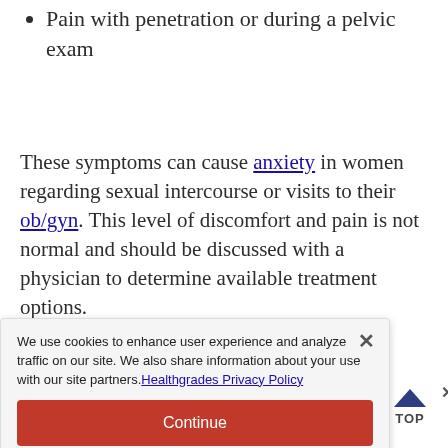Pain with penetration or during a pelvic exam
These symptoms can cause anxiety in women regarding sexual intercourse or visits to their ob/gyn. This level of discomfort and pain is not normal and should be discussed with a physician to determine available treatment options.
ADVERTISEMENT
We use cookies to enhance user experience and analyze traffic on our site. We also share information about your use with our site partners. Healthgrades Privacy Policy
Continue
Access my Privacy Preferences